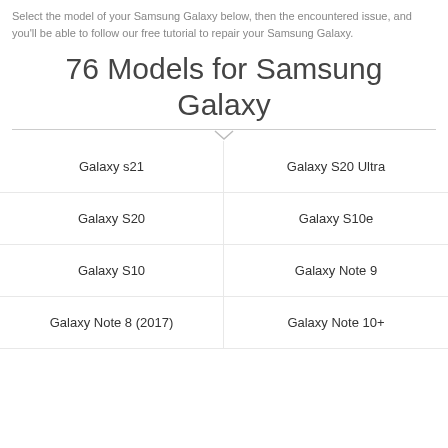Select the model of your Samsung Galaxy below, then the encountered issue, and you'll be able to follow our free tutorial to repair your Samsung Galaxy.
76 Models for Samsung Galaxy
Galaxy s21
Galaxy S20 Ultra
Galaxy S20
Galaxy S10e
Galaxy S10
Galaxy Note 9
Galaxy Note 8 (2017)
Galaxy Note 10+